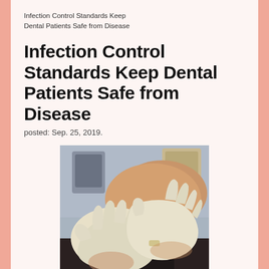Infection Control Standards Keep Dental Patients Safe from Disease
Infection Control Standards Keep Dental Patients Safe from Disease
posted: Sep. 25, 2019.
[Figure (photo): Close-up photo of dental professional putting on white latex gloves, with dental equipment visible in the background.]
The chances of contracting an infectious disease from a